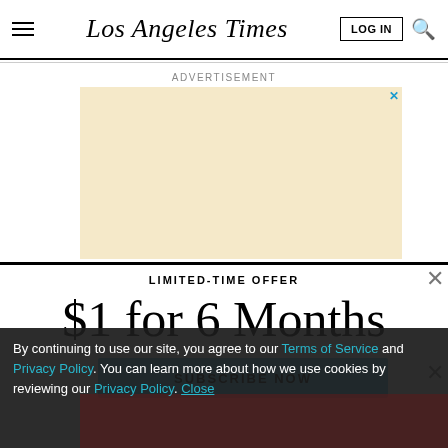Los Angeles Times
ADVERTISEMENT
[Figure (other): Advertisement placeholder box with cream/tan background and blue X close button]
LIMITED-TIME OFFER
$1 for 6 Months
SUBSCRIBE NOW
By continuing to use our site, you agree to our Terms of Service and Privacy Policy. You can learn more about how we use cookies by reviewing our Privacy Policy. Close